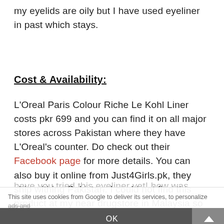my eyelids are oily but I have used eyeliner in past which stays.
Cost & Availability:
L'Oreal Paris Colour Riche Le Kohl Liner costs pkr 699 and you can find it on all major stores across Pakistan where they have L'Oreal's counter. Do check out their Facebook page for more details. You can also buy it online from Just4Girls.pk, they ship withing Pakistan. I could not find this product at my near drugstore in Malaysia so far but will still look for it. People living abroad can order this product from many website like Boots, Drugstore, Amazon, eBay etc, costs around $6-$7.
have you tried this eyeliner yet! how was your experience?
This site uses cookies from Google to deliver its services, to personalize ads and to analyze traffic. By using this site, you agree to its use of cookies. More info
click for more...